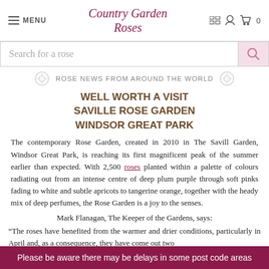MENU | Country Garden Roses | [icons] 0
Search for a rose
ROSE NEWS FROM AROUND THE WORLD
WELL WORTH A VISIT
SAVILLE ROSE GARDEN
WINDSOR GREAT PARK
The contemporary Rose Garden, created in 2010 in The Savill Garden, Windsor Great Park, is reaching its first magnificent peak of the summer earlier than expected. With 2,500 roses planted within a palette of colours radiating out from an intense centre of deep plum purple through soft pinks fading to white and subtle apricots to tangerine orange, together with the heady mix of deep perfumes, the Rose Garden is a joy to the senses.
Mark Flanagan, The Keeper of the Gardens, says:
“The roses have benefited from the warmer and drier conditions, particularly in April and, as a consequence, they have come out two
Please be aware there may be delays in some post code areas